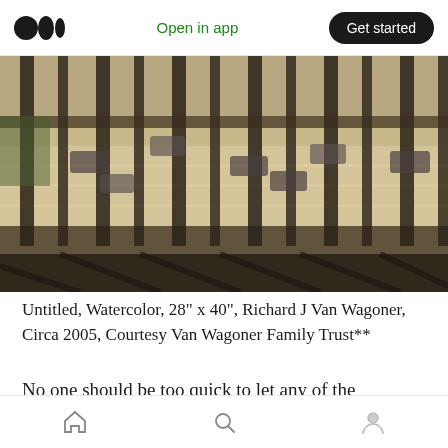Open in app  Get started
[Figure (photo): Watercolor painting of a highway freeway viewed through vertical bars or a bridge railing, with multiple lanes of cars. Warm sandy tones with green and tan colors.]
Untitled, Watercolor, 28" x 40", Richard J Van Wagoner, Circa 2005, Courtesy Van Wagoner Family Trust**
No one should be too quick to let any of the potential snitches off the hook. Considerations
Home  Search  Profile